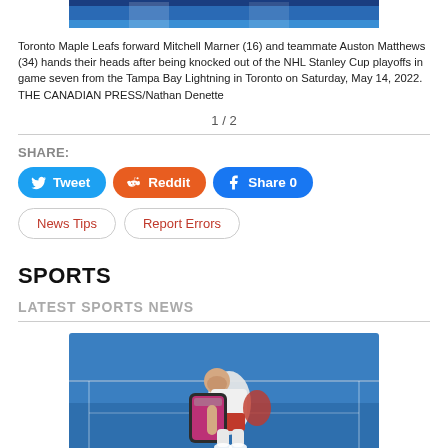[Figure (photo): Top strip of a sports photo showing Toronto Maple Leafs players (partial, cropped)]
Toronto Maple Leafs forward Mitchell Marner (16) and teammate Auston Matthews (34) hands their heads after being knocked out of the NHL Stanley Cup playoffs in game seven from the Tampa Bay Lightning in Toronto on Saturday, May 14, 2022. THE CANADIAN PRESS/Nathan Denette
1 / 2
SHARE:
[Figure (screenshot): Social share buttons: Tweet (Twitter/blue), Reddit (orange), Share 0 (Facebook/blue), News Tips (outline), Report Errors (outline)]
SPORTS
LATEST SPORTS NEWS
[Figure (photo): Tennis player on a blue hard court, carrying a bag and covering their face with their hand, wearing white shirt and red shorts]